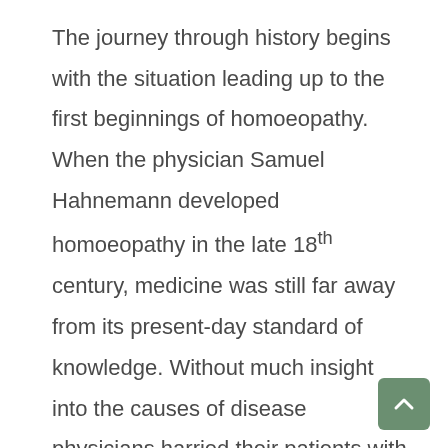The journey through history begins with the situation leading up to the first beginnings of homoeopathy. When the physician Samuel Hahnemann developed homoeopathy in the late 18th century, medicine was still far away from its present-day standard of knowledge. Without much insight into the causes of disease physicians harried their patients with bloodletting, enemas and vast...